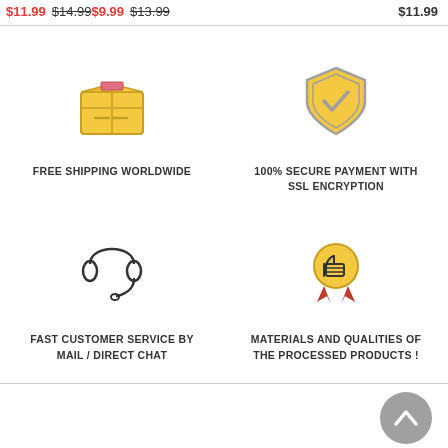$11.99 $14.99  $9.99 $13.99  $11.99
[Figure (illustration): Cardboard box icon with pink tape strip - free shipping symbol]
FREE SHIPPING WORLDWIDE
[Figure (illustration): Shield with checkmark icon - SSL secure payment symbol]
100% SECURE PAYMENT WITH SSL ENCRYPTION
[Figure (illustration): Headset/headphones icon - customer service symbol]
FAST CUSTOMER SERVICE BY MAIL / DIRECT CHAT
[Figure (illustration): Award medal with thumbs up icon - quality symbol]
MATERIALS AND QUALITIES OF THE PROCESSED PRODUCTS !